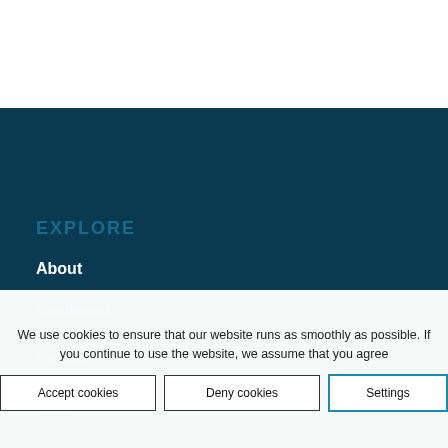EXPLORE
About
Sporthorses
References
Partners
Gallery
News
We use cookies to ensure that our website runs as smoothly as possible. If you continue to use the website, we assume that you agree